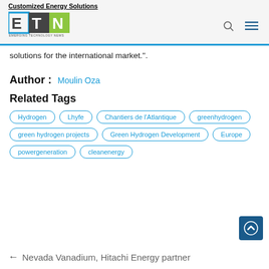Customized Energy Solutions
[Figure (logo): ETN Emerging Technology News logo with blue and green block letters]
solutions for the international market.".
Author : Moulin Oza
Related Tags
Hydrogen
Lhyfe
Chantiers de l'Atlantique
greenhydrogen
green hydrogen projects
Green Hydrogen Development
Europe
powergeneration
cleanenergy
← Nevada Vanadium, Hitachi Energy partner